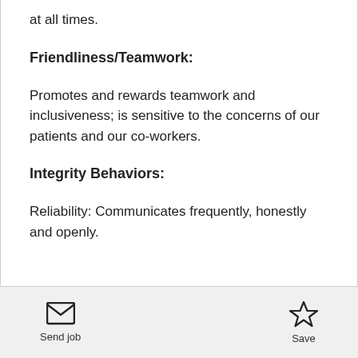at all times.
Friendliness/Teamwork:
Promotes and rewards teamwork and inclusiveness; is sensitive to the concerns of our patients and our co-workers.
Integrity Behaviors:
Reliability: Communicates frequently, honestly and openly.
Send job | Save